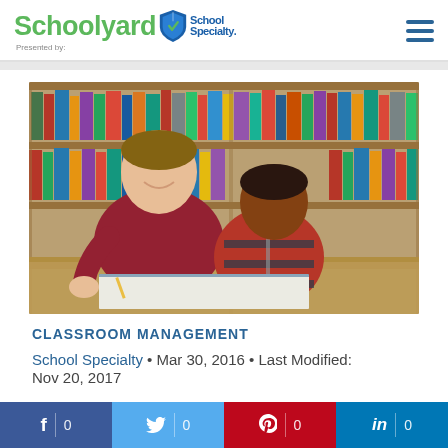[Figure (logo): Schoolyard blog logo presented by School Specialty, with green Schoolyard text, shield icon, and School Specialty wordmark in blue]
[Figure (photo): A smiling male teacher in a red shirt helping a young boy in a red striped jacket write in a notebook, seated at a library table with bookshelves in the background]
CLASSROOM MANAGEMENT
School Specialty • Mar 30, 2016 • Last Modified: Nov 20, 2017
[Figure (infographic): Social share bar with Facebook (0), Twitter (0), Pinterest (0), LinkedIn (0) share counts]